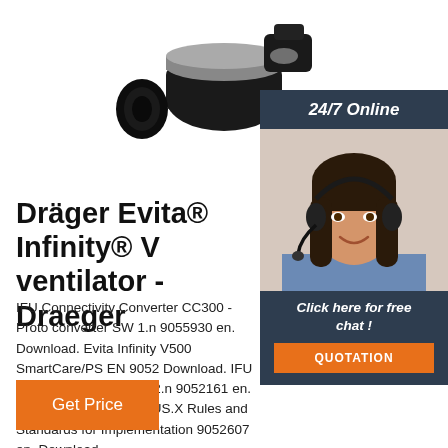[Figure (photo): Dräger Evita Infinity ventilator device/connector close-up photo, black and silver hardware]
[Figure (photo): Side panel showing a female customer service agent with headset smiling, with '24/7 Online' header, 'Click here for free chat!' text, and orange QUOTATION button]
Dräger Evita® Infinity® V ventilator - Draeger
IFU Connectivity Converter CC300 - Proto converter SW 1.n 9055930 en. Download. Evita Infinity V500 SmartCare/PS EN 9052 Download. IFU Evita Infinity V500 SW 2.n 9052161 en. Download. IFU MEDIBUS.X Rules and Standards for Implementation 9052607 en. Download.
Get Price